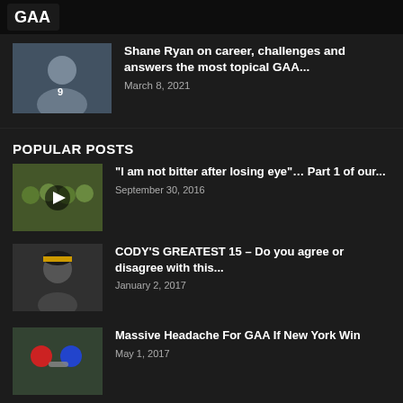[Figure (screenshot): Top banner with logo and keyboard background]
[Figure (photo): Shane Ryan GAA player photo thumbnail]
Shane Ryan on career, challenges and answers the most topical GAA...
March 8, 2021
POPULAR POSTS
[Figure (photo): Group of GAA players thumbnail with play button overlay]
“I am not bitter after losing eye”… Part 1 of our...
September 30, 2016
[Figure (photo): Man in black and yellow beanie hat thumbnail]
CODY’S GREATEST 15 – Do you agree or disagree with this...
January 2, 2017
[Figure (photo): GAA players shaking hands thumbnail]
Massive Headache For GAA If New York Win
May 1, 2017